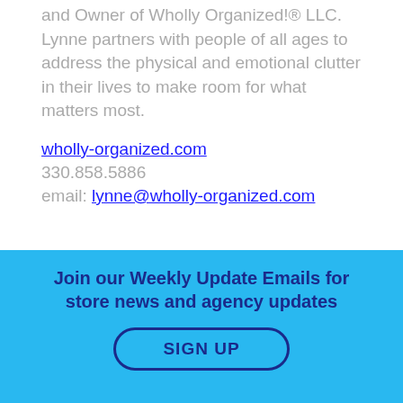and Owner of Wholly Organized!® LLC. Lynne partners with people of all ages to address the physical and emotional clutter in their lives to make room for what matters most.
wholly-organized.com
330.858.5886
email: lynne@wholly-organized.com
Join our Weekly Update Emails for store news and agency updates
SIGN UP